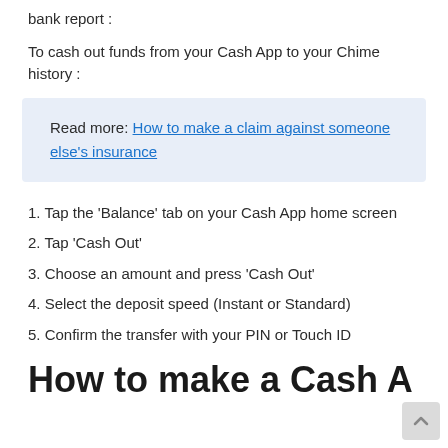bank report :
To cash out funds from your Cash App to your Chime history :
Read more: How to make a claim against someone else's insurance
1. Tap the ‘Balance’ tab on your Cash App home screen
2. Tap ‘Cash Out’
3. Choose an amount and press ‘Cash Out’
4. Select the deposit speed (Instant or Standard)
5. Confirm the transfer with your PIN or Touch ID
How to make a Cash A